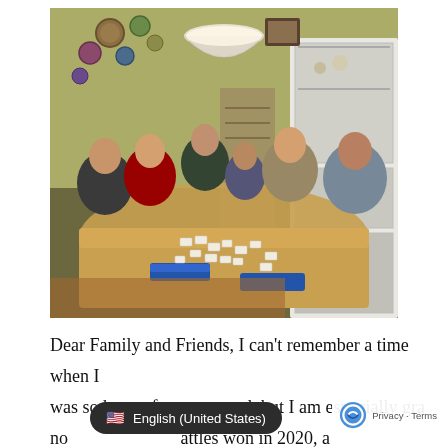[Figure (photo): Indoor family/group photo of six people seated and standing around a wooden dining table playing a tile/domino game. The room has yellow-green walls decorated with decorative plates, a white pendant light overhead, and white cabinetry visible on the right. The table is covered with game tiles and blue tile racks.]
Dear Family and Friends, I can't remember a time when I was so happy for a year-end, but I am especially gra[teful] no[w for] attles won in 2020, a[nd...]